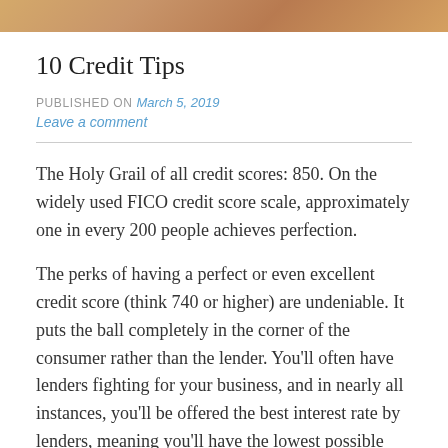[Figure (photo): Partial image visible as a cropped banner at the top of the page, showing warm tones suggesting food or related content.]
10 Credit Tips
PUBLISHED ON March 5, 2019
Leave a comment
The Holy Grail of all credit scores: 850. On the widely used FICO credit score scale, approximately one in every 200 people achieves perfection.
The perks of having a perfect or even excellent credit score (think 740 or higher) are undeniable. It puts the ball completely in the corner of the consumer rather than the lender. You'll often have lenders fighting for your business, and in nearly all instances, you'll be offered the best interest rate by lenders, meaning you'll have the lowest possible long-term mortgage